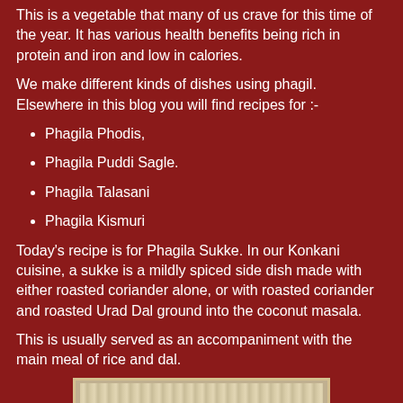This is a vegetable that many of us crave for this time of the year. It has various health benefits being rich in protein and iron and low in calories.
We make different kinds of dishes using phagil. Elsewhere in this blog you will find recipes for :-
Phagila Phodis,
Phagila Puddi Sagle.
Phagila Talasani
Phagila Kismuri
Today's recipe is for Phagila Sukke. In our Konkani cuisine, a sukke is a mildly spiced side dish made with either roasted coriander alone, or with roasted coriander and roasted Urad Dal ground into the coconut masala.
This is usually served as an accompaniment with the main meal of rice and dal.
[Figure (photo): Photo of Phagila Sukke dish with caption 'Phagila Sukke']